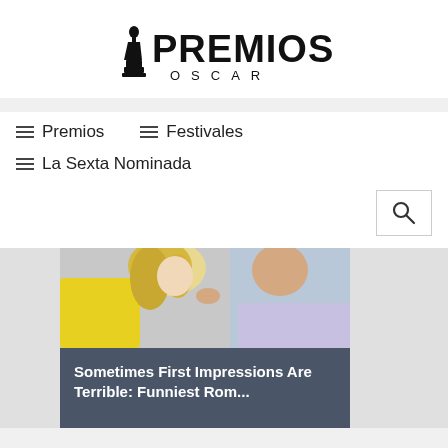[Figure (logo): Premios Oscar logo with Oscar statuette silhouette and text PREMIOS OSCAR]
≡ Premios   ≡ Festivales
≡ La Sexta Nominada
[Figure (photo): A blonde woman and a man facing each other closely, romantic scene, with a yellow car in background]
Sometimes First Impressions Are Terrible: Funniest Rom...